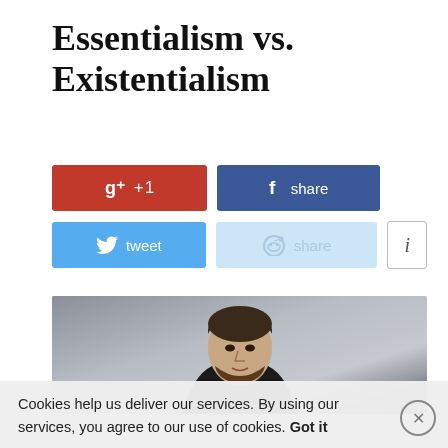Essentialism vs. Existentialism
[Figure (screenshot): Social sharing buttons: Google+1 (red), Facebook share (dark blue), Twitter tweet (light blue), Reddit share (light blue), Info button (white with border)]
[Figure (photo): Portrait photo of a young bearded man with dark hair wearing a black jacket, against a grey background]
Cookies help us deliver our services. By using our services, you agree to our use of cookies.    Got it